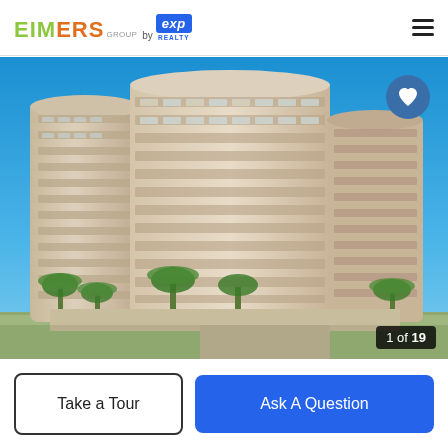EIMERS GROUP by exp REALTY
[Figure (photo): Exterior photo of a tall multi-story luxury condominium building with beige/cream facade, multiple balconies, curved architectural elements, and palm trees in the foreground against a blue sky. Photo counter shows 1 of 19.]
Take a Tour
Ask A Question